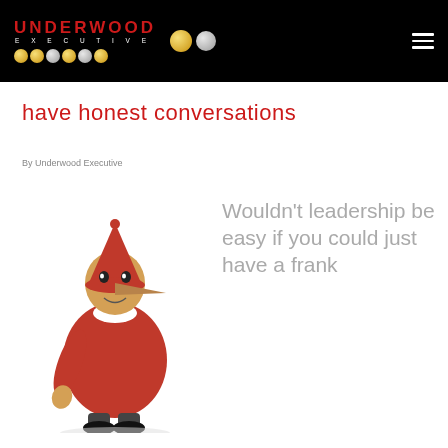UNDERWOOD EXECUTIVE
have honest conversations
By Underwood Executive
[Figure (photo): Wooden Pinocchio toy figure sitting, wearing red outfit and red hat, with long nose, against white background]
Wouldn't leadership be easy if you could just have a frank